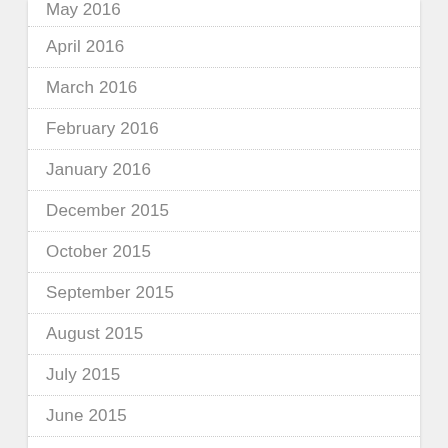May 2016
April 2016
March 2016
February 2016
January 2016
December 2015
October 2015
September 2015
August 2015
July 2015
June 2015
May 2015
April 2015